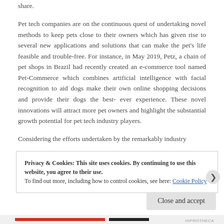share.
Pet tech companies are on the continuous quest of undertaking novel methods to keep pets close to their owners which has given rise to several new applications and solutions that can make the pet's life feasible and trouble-free. For instance, in May 2019, Petz, a chain of pet shops in Brazil had recently created an e-commerce tool named Pet-Commerce which combines artificial intelligence with facial recognition to aid dogs make their own online shopping decisions and provide their dogs the best- ever experience. These novel innovations will attract more pet owners and highlight the substantial growth potential for pet tech industry players.
Considering the efforts undertaken by the remarkably industry
Privacy & Cookies: This site uses cookies. By continuing to use this website, you agree to their use.
To find out more, including how to control cookies, see here: Cookie Policy
Close and accept